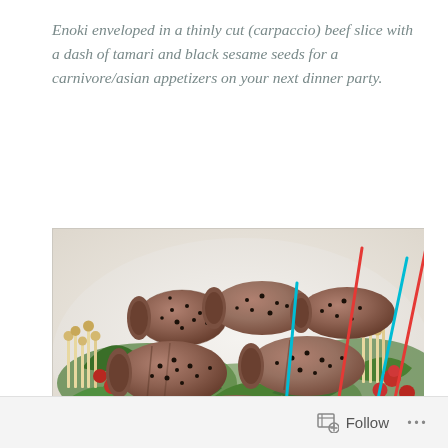Enoki enveloped in a thinly cut (carpaccio) beef slice with a dash of tamari and black sesame seeds for a carnivore/asian appetizers on your next dinner party.
[Figure (photo): A white rectangular plate holding multiple beef carpaccio rolls filled with enoki mushrooms, sprinkled with black sesame seeds, garnished with mixed greens, enoki mushroom clusters, and cherry tomatoes. Colorful toothpick-style picks (cyan and red) are inserted into the rolls at various angles.]